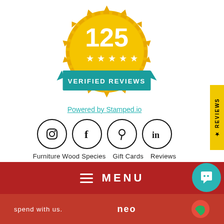[Figure (infographic): Gold badge with '125' in large text, five white stars, and a teal ribbon banner reading 'VERIFIED REVIEWS']
Powered by Stamped.io
[Figure (infographic): Four circular social media icons: Instagram, Facebook, Pinterest, LinkedIn]
Furniture Wood Species
Gift Cards
Reviews
Terms of Service
Refund Policy
Warranty
Sitemap
Payment Plans
About Us
Shipping
Contact Us
[Figure (screenshot): Red menu bar with hamburger icon and MENU text, with teal chat bubble icon]
spend with us.  NEO